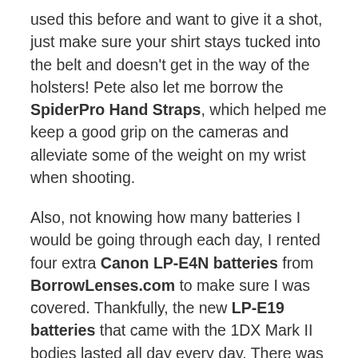used this before and want to give it a shot, just make sure your shirt stays tucked into the belt and doesn't get in the way of the holsters! Pete also let me borrow the SpiderPro Hand Straps, which helped me keep a good grip on the cameras and alleviate some of the weight on my wrist when shooting.
Also, not knowing how many batteries I would be going through each day, I rented four extra Canon LP-E4N batteries from BorrowLenses.com to make sure I was covered. Thankfully, the new LP-E19 batteries that came with the 1DX Mark II bodies lasted all day every day. There was a day where one was down to two notches with one set left to shoot, so I put a fresh one in to be safe. But, it probably would've lasted through that last set without any problems. So, while I could look at the rented batteries as wasted money, I still feel like I did the